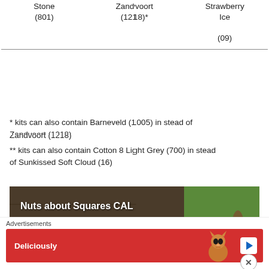| Stone
(801) | Zandvoort
(1218)* | Strawberry Ice
(09) |
| --- | --- | --- |
* kits can also contain Barneveld (1005) in stead of Zandvoort (1218)
** kits can also contain Cotton 8 Light Grey (700) in stead of Sunkissed Soft Cloud (16)
[Figure (photo): Promotional banner for 'Nuts about Squares CAL' showing yarn balls labeled 'Earth' on a dark wood/bark background with a squirrel visible on the right side.]
Advertisements
[Figure (photo): Advertisement banner with red background showing text 'Deliciously' and an image of a cat licking its paw, with a play button on the right.]